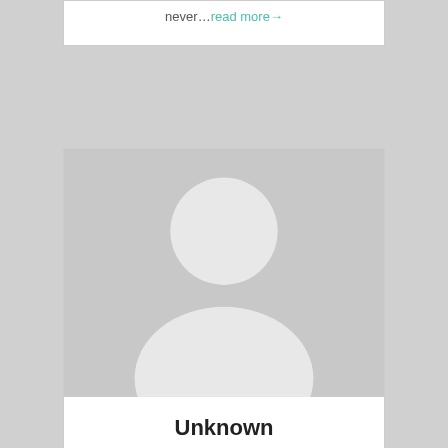never…read more→
[Figure (illustration): Default avatar placeholder image showing a white silhouette of a person (head circle and rounded body/shoulders) on a light gray background]
Unknown
To be yourself in a world that is constantly trying to make you something else…read more→